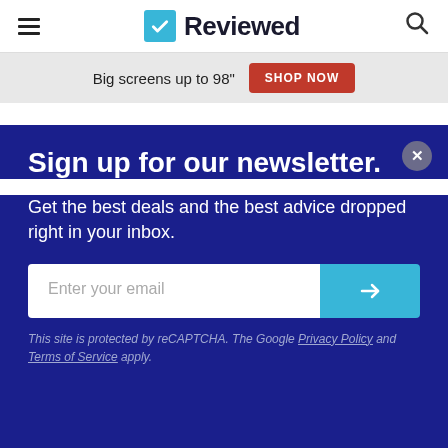Reviewed
Big screens up to 98" SHOP NOW
Sign up for our newsletter.
Get the best deals and the best advice dropped right in your inbox.
Enter your email
This site is protected by reCAPTCHA. The Google Privacy Policy and Terms of Service apply.